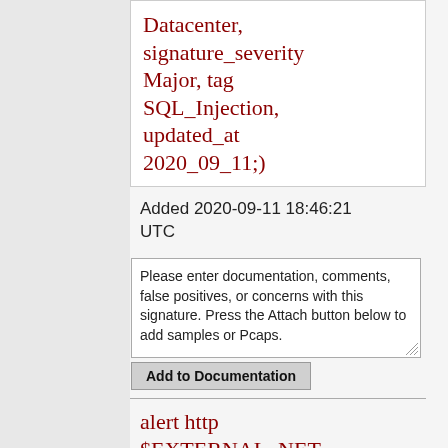Datacenter, signature_severity Major, tag SQL_Injection, updated_at 2020_09_11;)
Added 2020-09-11 18:46:21 UTC
Please enter documentation, comments, false positives, or concerns with this signature. Press the Attach button below to add samples or Pcaps.
Add to Documentation
alert http $EXTERNAL_NET any -> $HTTP_SERVERS